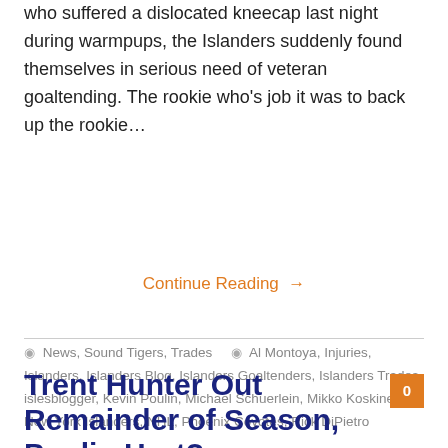who suffered a dislocated kneecap last night during warmpups, the Islanders suddenly found themselves in serious need of veteran goaltending. The rookie who's job it was to back up the rookie…
Continue Reading →
🏷 News, Sound Tigers, Trades   🏷 Al Montoya, Injuries, Islanders, Islanders Blog, Islanders Goaltenders, Islanders Trades, islesblogger, Kevin Poulin, Michael Schuerlein, Mikko Koskinen, New York Islanders, NHL, Phoenix Coyotes, Rick DiPietro
Trent Hunter Out Remainder of Season, Poulin Hurt?